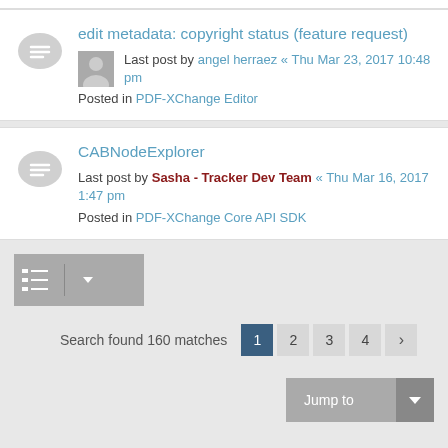edit metadata: copyright status (feature request)
Last post by angel herraez « Thu Mar 23, 2017 10:48 pm
Posted in PDF-XChange Editor
CABNodeExplorer
Last post by Sasha - Tracker Dev Team « Thu Mar 16, 2017 1:47 pm
Posted in PDF-XChange Core API SDK
Search found 160 matches  1  2  3  4  >
Jump to